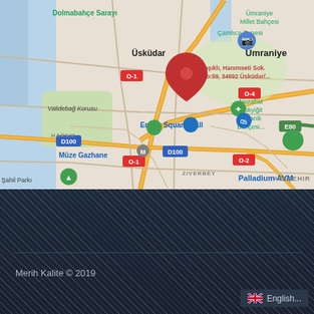[Figure (map): Google Maps screenshot showing Istanbul area including Üsküdar, Umraniye, Emaar Square Mall, Palladium AVM, Validebağ Korusu, Müze Gazhane, Dolmabahçe Sarayı, Nezahat Gökyiğit Botanik Bahçesi, with a red pin at Kışıklı, Hanımseti Sok. No:59, 34692 Üsküdar/...]
Merih Kalite © 2019
English...